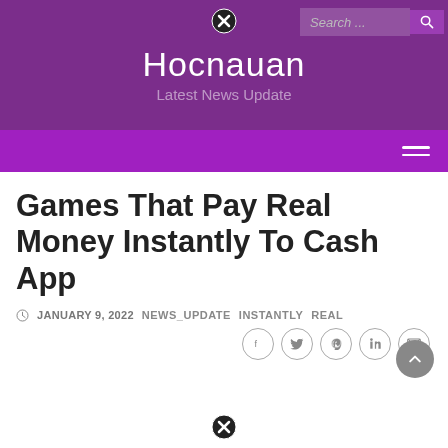Hocnauan — Latest News Update
Games That Pay Real Money Instantly To Cash App
JANUARY 9, 2022   NEWS_UPDATE   INSTANTLY   REAL
[Figure (screenshot): Website header screenshot showing Hocnauan blog with purple background, search bar, navigation, article title, metadata, and social sharing icons]